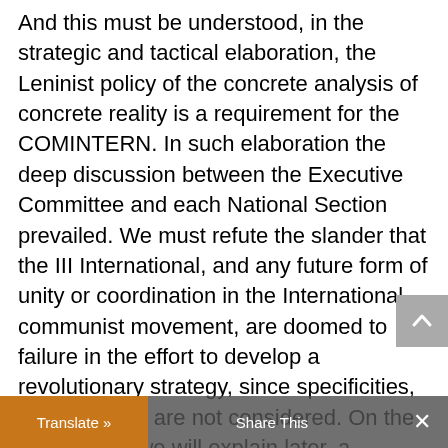And this must be understood, in the strategic and tactical elaboration, the Leninist policy of the concrete analysis of concrete reality is a requirement for the COMINTERN. In such elaboration the deep discussion between the Executive Committee and each National Section prevailed. We must refute the slander that the III International, and any future form of unity or coordination in the International communist movement, are doomed to failure in the effort to develop a revolutionary strategy, since specificities, particularities are not considered. On the contrary, as we will explain later, a revolutionary strategy is more